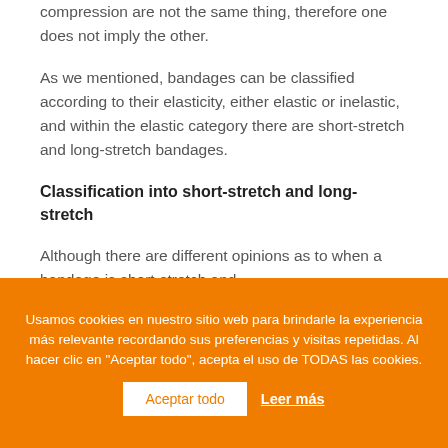compression are not the same thing, therefore one does not imply the other.
As we mentioned, bandages can be classified according to their elasticity, either elastic or inelastic, and within the elastic category there are short-stretch and long-stretch bandages.
Classification into short-stretch and long-stretch
Although there are different opinions as to when a bandage is short-stretch and
Usamos cookies en nuestro sitio web para brindarle la experiencia más relevante recordando sus preferencias y visitas repetidas. Al hacer clic en "Aceptar todo", acepta el uso de TODAS las cookies.
Aceptar todo
Leer más